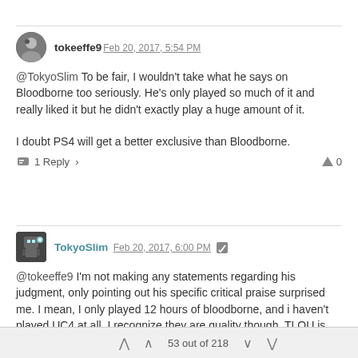tokeeffe9 Feb 20, 2017, 5:54 PM
@TokyoSlim To be fair, I wouldn't take what he says on Bloodborne too seriously. He's only played so much of it and really liked it but he didn't exactly play a huge amount of it.

I doubt PS4 will get a better exclusive than Bloodborne.
1 Reply  0
TokyoSlim Feb 20, 2017, 6:00 PM
@tokeeffe9 I'm not making any statements regarding his judgment, only pointing out his specific critical praise surprised me. I mean, I only played 12 hours of bloodborne, and i haven't played UC4 at all. I recognize they are quality though. TLOU is probably my favorite Sony exclusive.

The fact that multiple well known, legitimate review outlets are giving this game perfect marks, and that some people seem over the top
53 out of 218